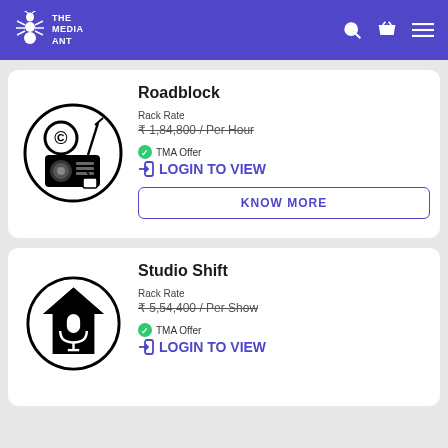The Media Ant
Roadblock
Rack Rate ₹ 1,84,800 / Per Hour
TMA Offer LOGIN TO VIEW
KNOW MORE
Studio Shift
Rack Rate ₹ 5,54,400 / Per Show
TMA Offer LOGIN TO VIEW